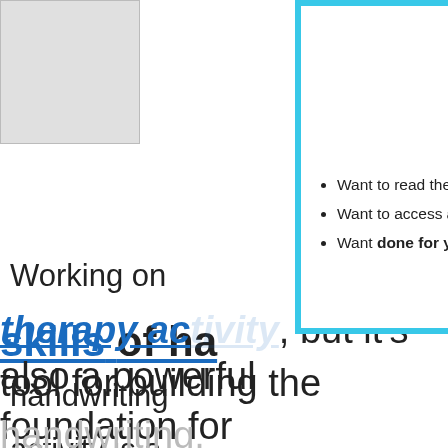[Figure (logo): OT Toolbox Members Club circular logo with yellow background, blue border, pink dots, and bold text]
Want to read the website AD-FREE?
Want to access all of our downloads in one place?
Want done for you therapy tools and materials
JOIN THE OT TOOLBOX MEMBER'S CLUB!
Working on
skills of ha
handwriting
activity is a
therapy activity, but it's also a powerful tool for building the foundation for
handwriting.